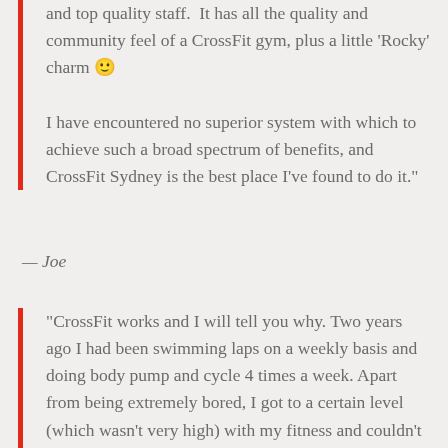and top quality staff.  It has all the quality and community feel of a CrossFit gym, plus a little 'Rocky' charm 🙂
I have encountered no superior system with which to achieve such a broad spectrum of benefits, and CrossFit Sydney is the best place I've found to do it."
— Joe
"CrossFit works and I will tell you why. Two years ago I had been swimming laps on a weekly basis and doing body pump and cycle 4 times a week. Apart from being extremely bored, I got to a certain level (which wasn't very high) with my fitness and couldn't seem to improve much beyond that, and I kept injuring my neck every so often after doing body pump.